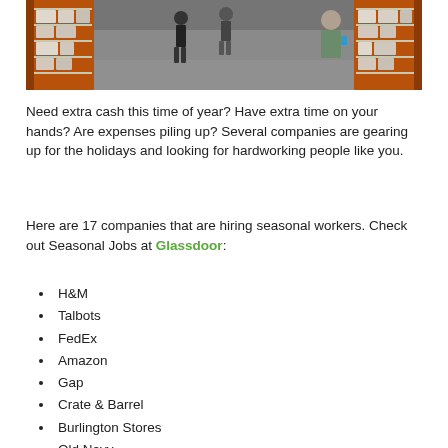[Figure (photo): Aerial/overhead view of a warehouse store aisle with shoppers walking between shelving units stocked with products, orange metal shelving visible on both sides]
Need extra cash this time of year? Have extra time on your hands? Are expenses piling up? Several companies are gearing up for the holidays and looking for hardworking people like you.
Here are 17 companies that are hiring seasonal workers. Check out Seasonal Jobs at Glassdoor:
H&M
Talbots
FedEx
Amazon
Gap
Crate & Barrel
Burlington Stores
Old Navy